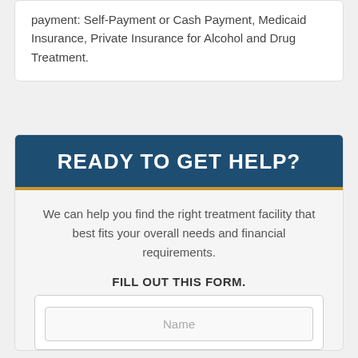payment: Self-Payment or Cash Payment, Medicaid Insurance, Private Insurance for Alcohol and Drug Treatment.
READY TO GET HELP?
We can help you find the right treatment facility that best fits your overall needs and financial requirements.
FILL OUT THIS FORM.
Name